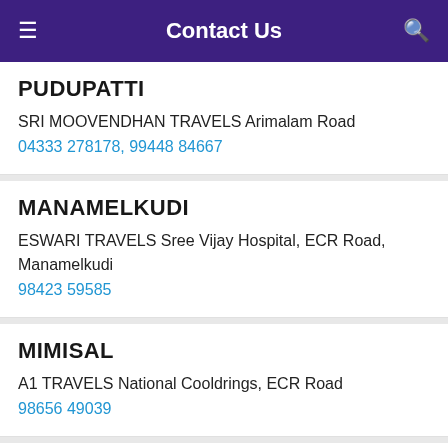Contact Us
PUDUPATTI
SRI MOOVENDHAN TRAVELS Arimalam Road
04333 278178, 99448 84667
MANAMELKUDI
ESWARI TRAVELS Sree Vijay Hospital, ECR Road, Manamelkudi
98423 59585
MIMISAL
A1 TRAVELS National Cooldrings, ECR Road
98656 49039
KOTTAIPATTINAM